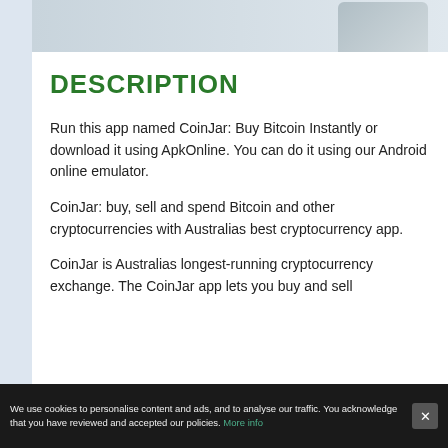[Figure (photo): Partial screenshot of a smartphone or card image at the top of the page]
DESCRIPTION
Run this app named CoinJar: Buy Bitcoin Instantly or download it using ApkOnline. You can do it using our Android online emulator.
CoinJar: buy, sell and spend Bitcoin and other cryptocurrencies with Australias best cryptocurrency app.
CoinJar is Australias longest-running cryptocurrency exchange. The CoinJar app lets you buy and sell
We use cookies to personalise content and ads, and to analyse our traffic. You acknowledge that you have reviewed and accepted our policies. More info